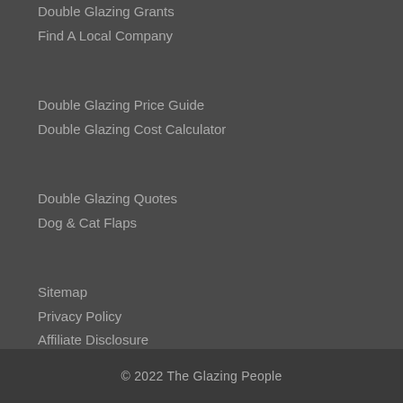Double Glazing Grants
Find A Local Company
Double Glazing Price Guide
Double Glazing Cost Calculator
Double Glazing Quotes
Dog & Cat Flaps
Sitemap
Privacy Policy
Affiliate Disclosure
© 2022 The Glazing People